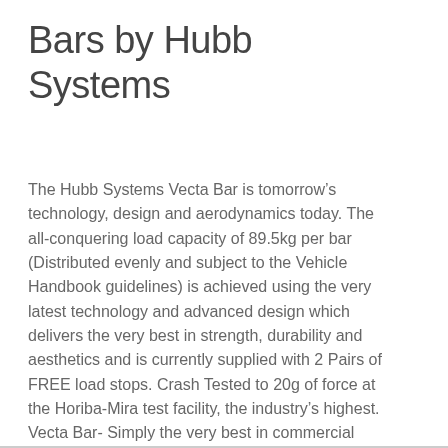Bars by Hubb Systems
The Hubb Systems Vecta Bar is tomorrow’s technology, design and aerodynamics today. The all-conquering load capacity of 89.5kg per bar (Distributed evenly and subject to the Vehicle Handbook guidelines) is achieved using the very latest technology and advanced design which delivers the very best in strength, durability and aesthetics and is currently supplied with 2 Pairs of FREE load stops. Crash Tested to 20g of force at the Horiba-Mira test facility, the industry’s highest. Vecta Bar- Simply the very best in commercial roof bars.